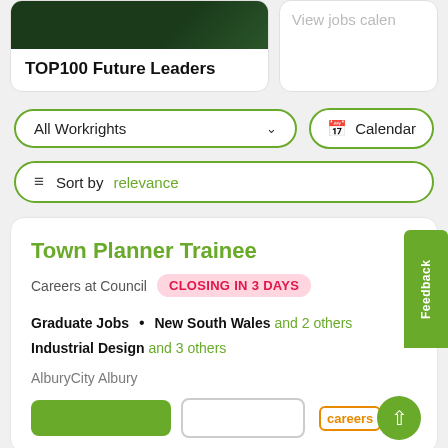[Figure (screenshot): TOP100 Future Leaders card with dark image banner]
View jobs calen
[Figure (screenshot): All Workrights dropdown button and Calendar button]
[Figure (screenshot): Sort by relevance button]
Town Planner Trainee
Careers at Council   CLOSING IN 3 DAYS
Graduate Jobs • New South Wales and 2 others
Industrial Design and 3 others
AlburyCity Albury